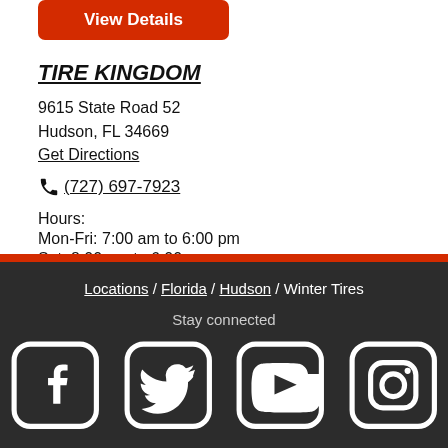[Figure (other): Red 'View Details' button (partially visible at top)]
TIRE KINGDOM
9615 State Road 52
Hudson, FL 34669
Get Directions
(727) 697-7923
Hours:
Mon-Fri:  7:00 am to 6:00 pm
Sat:  8:00 am to 6:00 pm
[Figure (other): Red 'View Details' button]
Locations / Florida / Hudson / Winter Tires
Stay connected
[Facebook] [Twitter] [YouTube] [Instagram]